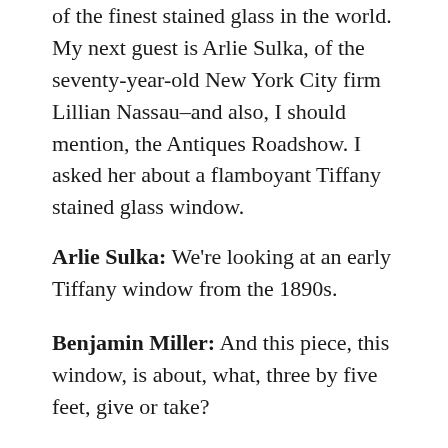of the finest stained glass in the world. My next guest is Arlie Sulka, of the seventy-year-old New York City firm Lillian Nassau–and also, I should mention, the Antiques Roadshow. I asked her about a flamboyant Tiffany stained glass window.
Arlie Sulka: We're looking at an early Tiffany window from the 1890s.
Benjamin Miller: And this piece, this window, is about, what, three by five feet, give or take?
Arlie Sulka: I'm gonna say yes, that sounds pretty good . . . by sight.